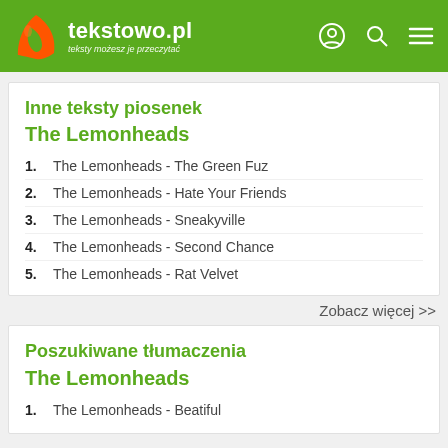tekstowo.pl - teksty możesz je przeczytać
Inne teksty piosenek
The Lemonheads
1. The Lemonheads - The Green Fuz
2. The Lemonheads - Hate Your Friends
3. The Lemonheads - Sneakyville
4. The Lemonheads - Second Chance
5. The Lemonheads - Rat Velvet
Zobacz więcej >>
Poszukiwane tłumaczenia
The Lemonheads
1. The Lemonheads - Beatiful